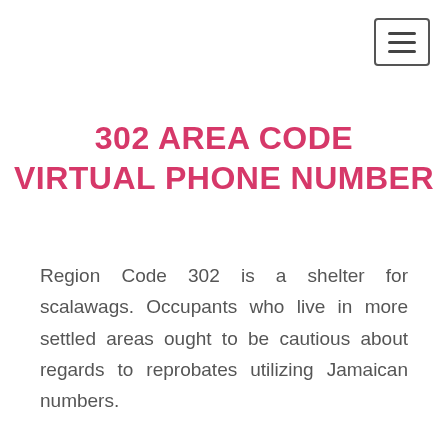302 AREA CODE VIRTUAL PHONE NUMBER
Region Code 302 is a shelter for scalawags. Occupants who live in more settled areas ought to be cautious about regards to reprobates utilizing Jamaican numbers.